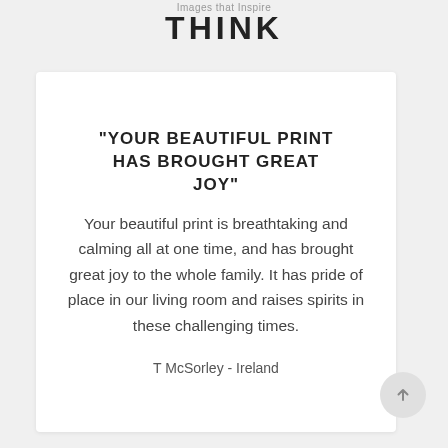Images that Inspire
THINK
“YOUR BEAUTIFUL PRINT HAS BROUGHT GREAT JOY”
Your beautiful print is breathtaking and calming all at one time, and has brought great joy to the whole family. It has pride of place in our living room and raises spirits in these challenging times.
T McSorley - Ireland